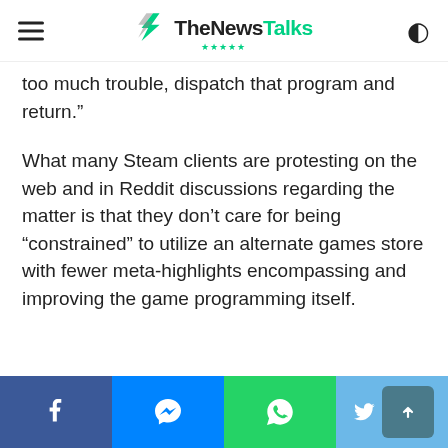TheNewsTalks
too much trouble, dispatch that program and return.”
What many Steam clients are protesting on the web and in Reddit discussions regarding the matter is that they don’t care for being “constrained” to utilize an alternate games store with fewer meta-highlights encompassing and improving the game programming itself.
Social share bar: Facebook, Messenger, WhatsApp, Twitter, Scroll to top